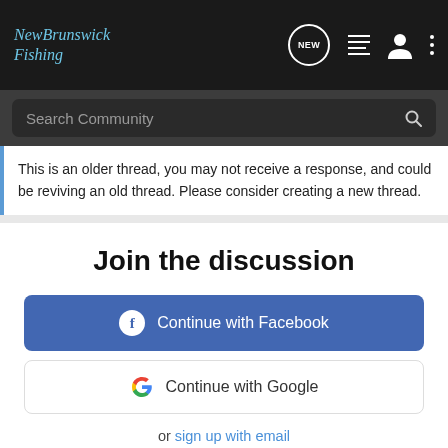NewBrunswick Fishing
Search Community
This is an older thread, you may not receive a response, and could be reviving an old thread. Please consider creating a new thread.
Join the discussion
Continue with Facebook
Continue with Google
or sign up with email
Reco YOUR NEW FAVORITE SPORT EXPLORE HOW TO RESPONSIBLY PARTICIPATE IN THE SHOOTING SPORTS. START HERE!